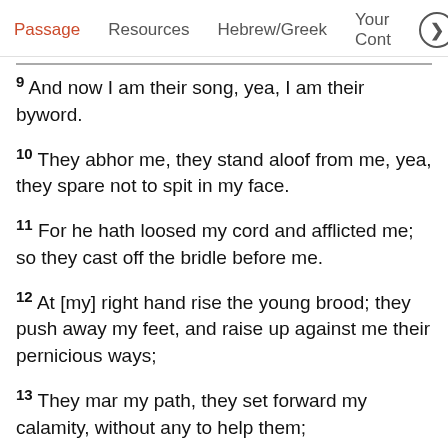Passage   Resources   Hebrew/Greek   Your Cont >
9 And now I am their song, yea, I am their byword.
10 They abhor me, they stand aloof from me, yea, they spare not to spit in my face.
11 For he hath loosed my cord and afflicted me; so they cast off the bridle before me.
12 At [my] right hand rise the young brood; they push away my feet, and raise up against me their pernicious ways;
13 They mar my path, they set forward my calamity, without any to help them;
14 They come in as through a wide breach: amid the confusion they roll themselves onward.
15 [partially visible]